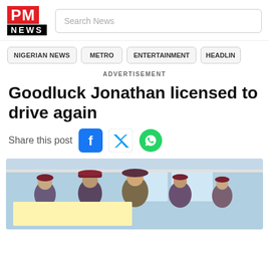[Figure (logo): PM NEWS logo — red block letters PM on red background, NEWS in white on black background below]
Search News
NIGERIAN NEWS
METRO
ENTERTAINMENT
HEADLIN
ADVERTISEMENT
Goodluck Jonathan licensed to drive again
Share this post
[Figure (photo): Group of people in maroon/dark red berets and uniforms standing outside a building with blue walls and windows; one person holds a yellow document/card in front]